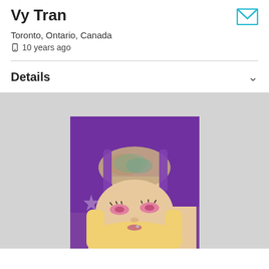Vy Tran
Toronto, Ontario, Canada
📱 10 years ago
Details
[Figure (photo): Profile photo of a person with blonde hair, pink eye makeup, and visible tattoos on chest/shoulder area, wearing a purple top, photo taken from overhead angle]